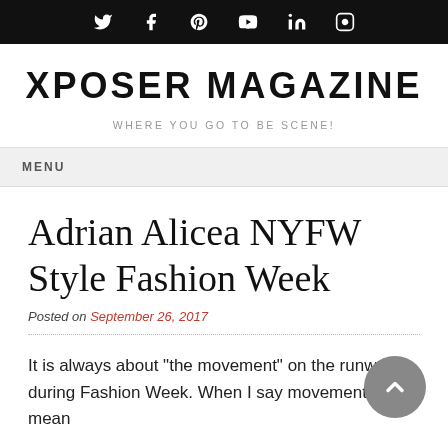Social media icons: Twitter, Facebook, Pinterest, YouTube, LinkedIn, Instagram
XPOSER MAGAZINE
WHERE YOU GO TO BE SCENE!
MENU
Adrian Alicea NYFW Style Fashion Week
Posted on September 26, 2017
It is always about "the movement" on the runway during Fashion Week. When I say movement, I mean